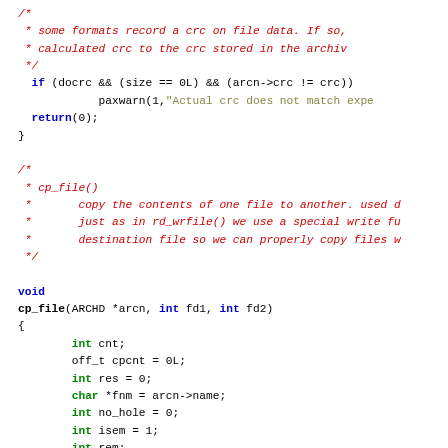Source code fragment showing C file copy function implementation with comments, conditional logic, and variable declarations.